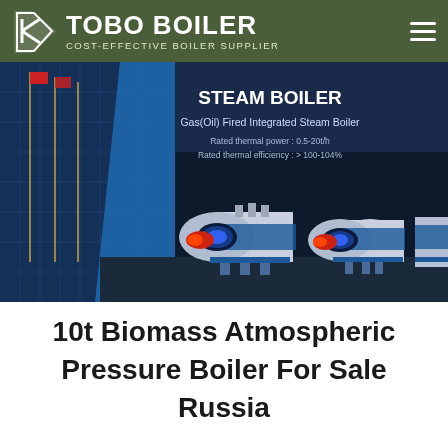TOBO BOILER — COST-EFFECTIVE BOILER SUPPLIER
[Figure (screenshot): Steam boiler product banner showing Gas(Oil) Fired Integrated Steam Boiler with text: Rated thermal power: 0.5-20t/h, Rated thermal efficiency: >100-104%. Shows three industrial boiler units against dark background with a building exterior on the left.]
10t Biomass Atmospheric Pressure Boiler For Sale Russia